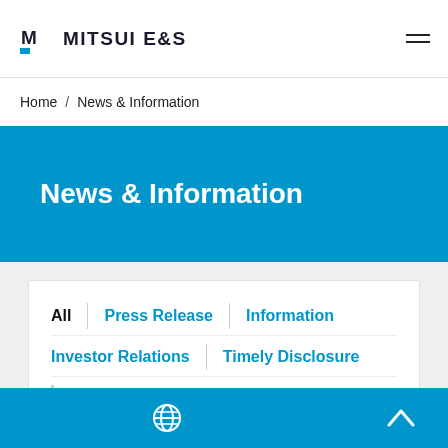MITSUI E&S
Home / News & Information
News & Information
All | Press Release | Information | Investor Relations | Timely Disclosure | Recruiting | Sustainability